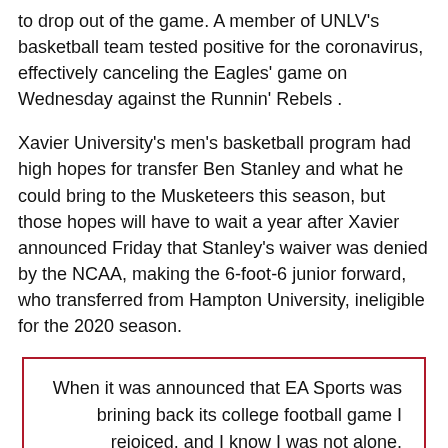to drop out of the game. A member of UNLV's basketball team tested positive for the coronavirus, effectively canceling the Eagles' game on Wednesday against the Runnin' Rebels .
Xavier University's men's basketball program had high hopes for transfer Ben Stanley and what he could bring to the Musketeers this season, but those hopes will have to wait a year after Xavier announced Friday that Stanley's waiver was denied by the NCAA, making the 6-foot-6 junior forward, who transferred from Hampton University, ineligible for the 2020 season.
When it was announced that EA Sports was brining back its college football game I rejoiced, and I know I was not alone.
In 2019, Pola-Mao started 12 of 13 games and contributed 73 tackles, including 5 tackles for loss